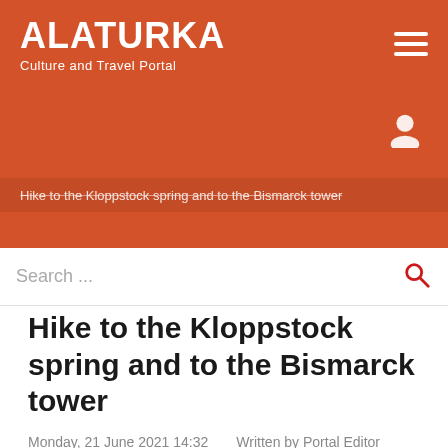ALATURKA — Culture and Travel Portal
Hike to the Kloppstock spring and to the Bismarck tower
Search ...
Hike to the Kloppstock spring and to the Bismarck tower
Monday, 21 June 2021 14:32   Written by Portal Editor